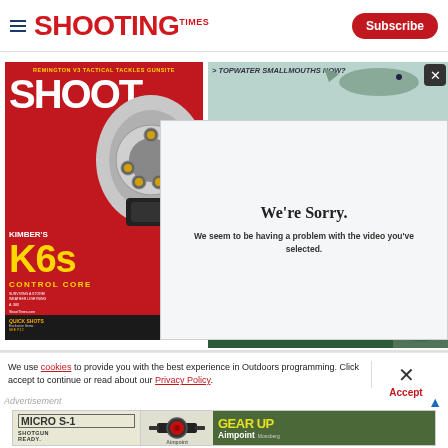Shooting Times — Subscribe
[Figure (screenshot): Shooting Times magazine cover featuring Kimber K6s revolver, red background with yellow text]
[Figure (screenshot): Topwater Smallmouths Now? fishing magazine panel with close button (X)]
[Figure (screenshot): Video error modal overlay: We're Sorry. We seem to be having a problem with the video you've selected.]
[Figure (screenshot): Bottom fishing panel: PLUS badge, FRESHWATER CHANNEL CATS text, green background]
We use cookies to provide you with the best experience in Outdoors programming. Click accept to continue or read about our Privacy Policy.
Accept
Advertisement
[Figure (screenshot): Aimpoint Micro S-1 advertisement banner: MICRO S-1 SHOTGUN READY. GEAR UP Aimpoint]